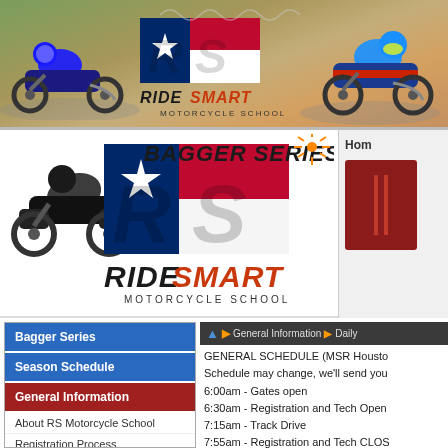[Figure (photo): RideSmart Motorcycle School banner with two motorcycles racing on a track, Texas flag RS logo in center]
[Figure (logo): RideSmart Bagger Series logo with Texas flag RS emblem and a leaning bagger motorcycle]
Hom
Bagger Series
Season Schedule
General Information
About RS Motorcycle School
Registration Process
Trackside Services
General Information > Daily
GENERAL SCHEDULE (MSR Housto
Schedule may change, we'll send you
6:00am - Gates open
6:30am - Registration and Tech Open
7:15am - Track Drive
7:55am - Registration and Tech CLOS
8:00am - Mandatory Safety Briefing (A